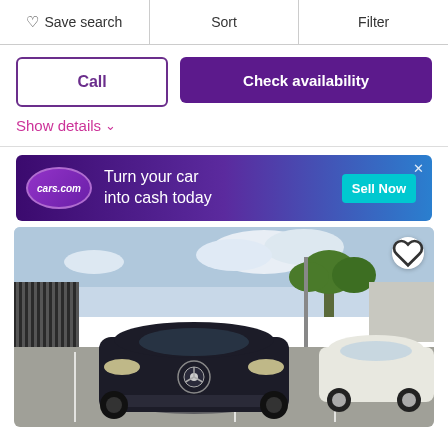Save search | Sort | Filter
Call
Check availability
Show details
[Figure (other): cars.com advertisement banner: Turn your car into cash today, with Sell Now button]
[Figure (photo): Photo of a dark/black Mercedes-Benz sedan parked in a dealership lot, front view, with a white Volkswagen parked beside it, trees and a fence visible in the background]